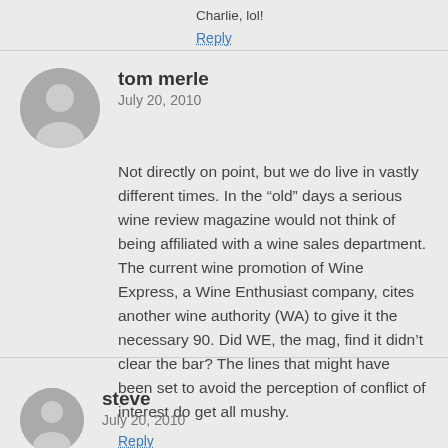Charlie, lol!
Reply
tom merle
July 20, 2010
Not directly on point, but we do live in vastly different times. In the “old” days a serious wine review magazine would not think of being affiliated with a wine sales department. The current wine promotion of Wine Express, a Wine Enthusiast company, cites another wine authority (WA) to give it the necessary 90. Did WE, the mag, find it didn’t clear the bar? The lines that might have been set to avoid the perception of conflict of interest do get all mushy.
Reply
steve
July 20, 2010
Tom, you can think of Wine Enthusiast